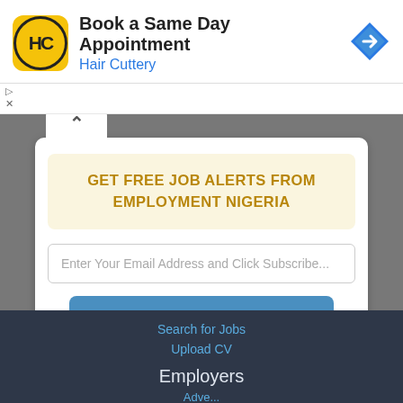[Figure (screenshot): Advertisement banner for Hair Cuttery with yellow logo, text 'Book a Same Day Appointment', and blue navigation arrow icon]
GET FREE JOB ALERTS FROM EMPLOYMENT NIGERIA
Enter Your Email Address and Click Subscribe...
Subscribe
Search for Jobs
Upload CV
Employers